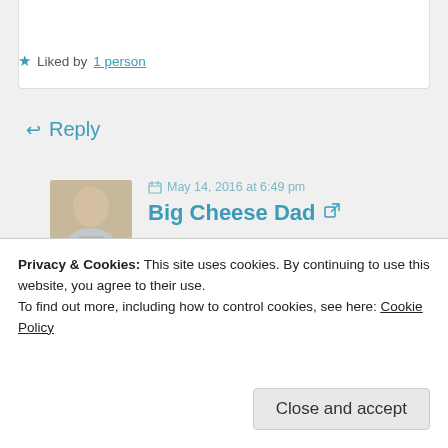★ Liked by 1 person
↩ Reply
May 14, 2016 at 6:49 pm
Big Cheese Dad
I'm glad that you found this and hope
it's helpful. I'll be praying for you and
Privacy & Cookies: This site uses cookies. By continuing to use this website, you agree to their use.
To find out more, including how to control cookies, see here: Cookie Policy